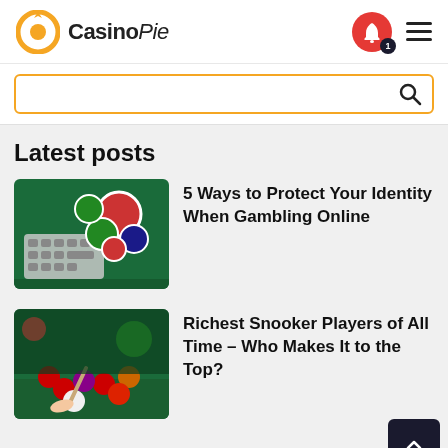CasinoPie
[Figure (screenshot): Search bar with orange border and search icon]
Latest posts
[Figure (photo): Casino chips and keyboard on green felt table]
5 Ways to Protect Your Identity When Gambling Online
[Figure (photo): Snooker balls on green table with cue]
Richest Snooker Players of All Time – Who Makes It to the Top?